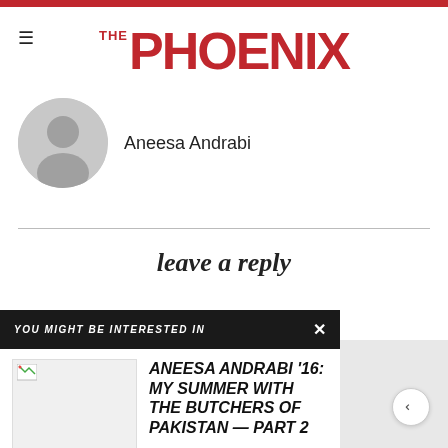THE PHOENIX
Aneesa Andrabi
leave a reply
YOU MIGHT BE INTERESTED IN
ANEESA ANDRABI '16: MY SUMMER WITH THE BUTCHERS OF PAKISTAN — PART 2
...